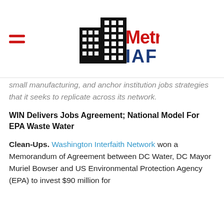[Figure (logo): Metro IAF logo with building silhouette icon, 'Metro' in red bold text and 'IAF' in blue bold text below]
small manufacturing, and anchor institution jobs strategies that it seeks to replicate across its network.
WIN Delivers Jobs Agreement; National Model For EPA Waste Water
Clean-Ups. Washington Interfaith Network won a Memorandum of Agreement between DC Water, DC Mayor Muriel Bowser and US Environmental Protection Agency (EPA) to invest $90 million for